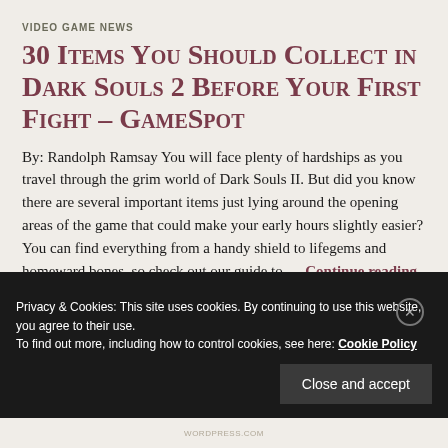VIDEO GAME NEWS
30 Items You Should Collect in Dark Souls 2 Before Your First Fight – GameSpot
By: Randolph Ramsay You will face plenty of hardships as you travel through the grim world of Dark Souls II. But did you know there are several important items just lying around the opening areas of the game that could make your early hours slightly easier? You can find everything from a handy shield to lifegems and homeward bones, so check out our guide to … Continue reading
Privacy & Cookies: This site uses cookies. By continuing to use this website, you agree to their use.
To find out more, including how to control cookies, see here: Cookie Policy
Close and accept